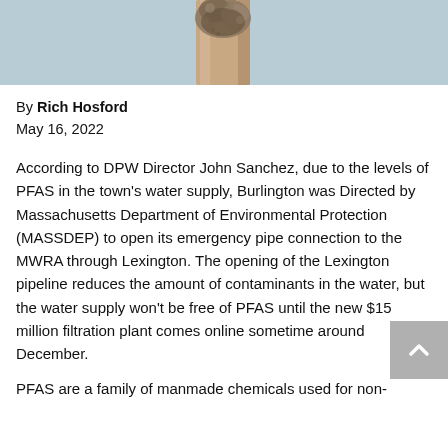[Figure (photo): Photo of a corroded or mineral-encrusted pipe against a light blue/grey background, cropped at top]
By Rich Hosford
May 16, 2022
According to DPW Director John Sanchez, due to the levels of PFAS in the town's water supply, Burlington was Directed by Massachusetts Department of Environmental Protection (MASSDEP) to open its emergency pipe connection to the MWRA through Lexington. The opening of the Lexington pipeline reduces the amount of contaminants in the water, but the water supply won't be free of PFAS until the new $15 million filtration plant comes online sometime around December.
PFAS are a family of manmade chemicals used for non-